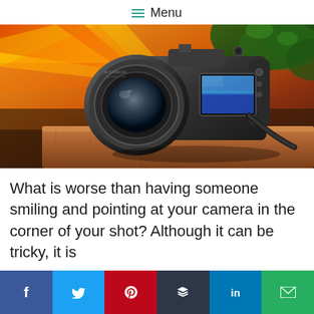Menu
[Figure (photo): A DSLR camera with a large lens sitting on a wooden surface, with blurred colorful background light streaks (red, yellow, orange) and green foliage in the upper right corner. The camera's LCD screen is visible showing a landscape image.]
What is worse than having someone smiling and pointing at your camera in the corner of your shot? Although it can be tricky, it is